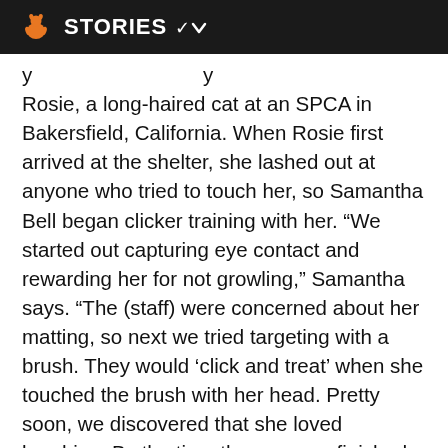STORIES
Rosie, a long-haired cat at an SPCA in Bakersfield, California. When Rosie first arrived at the shelter, she lashed out at anyone who tried to touch her, so Samantha Bell began clicker training with her. “We started out capturing eye contact and rewarding her for not growling,” Samantha says. “The (staff) were concerned about her matting, so next we tried targeting with a brush. They would ‘click and treat’ when she touched the brush with her head. Pretty soon, we discovered that she loved brushing. By the time the program finished, Rosie was enjoying being petted and brushed head to tail, doing dainty high fives and spins, and sitting in laps.”